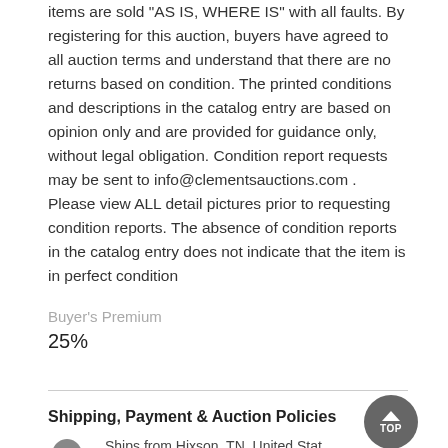items are sold "AS IS, WHERE IS" with all faults. By registering for this auction, buyers have agreed to all auction terms and understand that there are no returns based on condition. The printed conditions and descriptions in the catalog entry are based on opinion only and are provided for guidance only, without legal obligation. Condition report requests may be sent to info@clementsauctions.com . Please view ALL detail pictures prior to requesting condition reports. The absence of condition reports in the catalog entry does not indicate that the item is in perfect condition
Buyer's Premium
25%
Shipping, Payment & Auction Policies